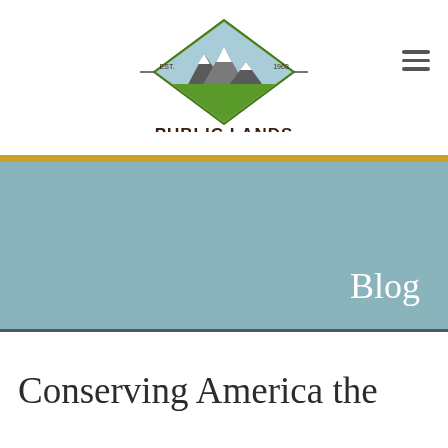[Figure (logo): Public Lands Council logo — diamond shape with mountains and green fields inside, 'EST. 1968' on sides, 'PUBLIC LANDS COUNCIL' text below in dark brown]
Blog
Conserving America the